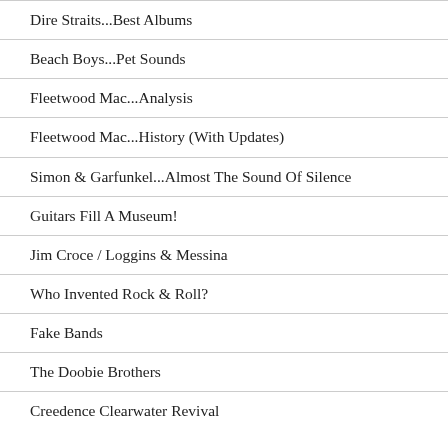Dire Straits...Best Albums
Beach Boys...Pet Sounds
Fleetwood Mac...Analysis
Fleetwood Mac...History (With Updates)
Simon & Garfunkel...Almost The Sound Of Silence
Guitars Fill A Museum!
Jim Croce / Loggins & Messina
Who Invented Rock & Roll?
Fake Bands
The Doobie Brothers
Creedence Clearwater Revival